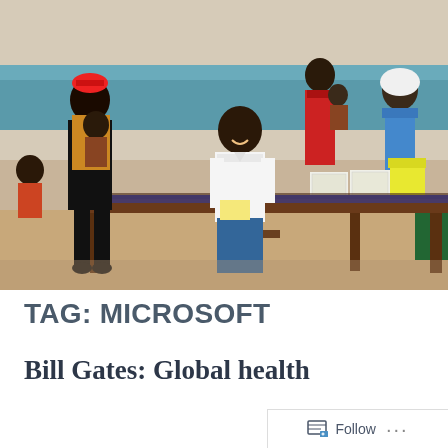[Figure (photo): A healthcare or vaccination clinic scene in Africa. A man in a white shirt sits at a long wooden table smiling, interacting with people. Several women and children are present. Medical supply boxes and containers are visible on the table. The setting appears to be a basic indoor facility with weathered blue-painted walls.]
TAG: MICROSOFT
Bill Gates: Global health